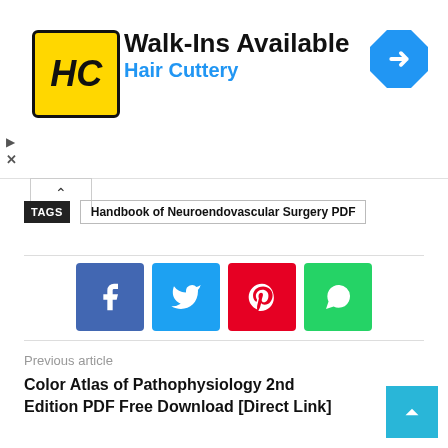[Figure (logo): Hair Cuttery advertisement banner with HC logo, 'Walk-Ins Available' heading, 'Hair Cuttery' subtitle in blue, and a navigation/directions icon]
TAGS   Handbook of Neuroendovascular Surgery PDF
Color Atlas of Pathophysiology 2nd Edition PDF Free Download [Direct Link]
Previous article